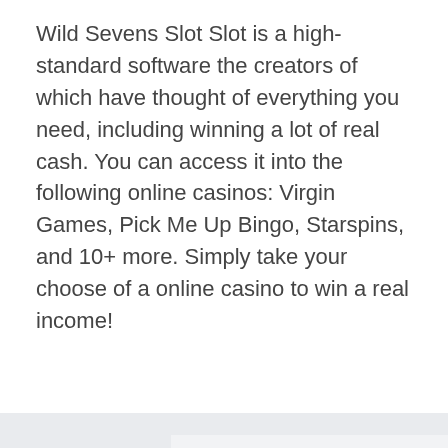Wild Sevens Slot Slot is a high-standard software the creators of which have thought of everything you need, including winning a lot of real cash. You can access it into the following online casinos: Virgin Games, Pick Me Up Bingo, Starspins, and 10+ more. Simply take your choose of a online casino to win a real income!
[Figure (other): Three-column gallery or card layout with light gray background, showing partial card panels separated by thin dividers. The center panel has a slightly lighter background than the side panels.]